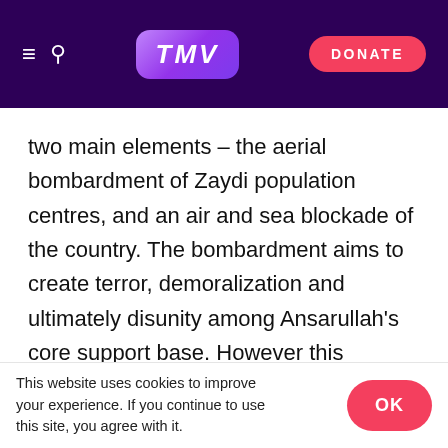TMV | DONATE
two main elements – the aerial bombardment of Zaydi population centres, and an air and sea blockade of the country. The bombardment aims to create terror, demoralization and ultimately disunity among Ansarullah's core support base. However this appears to have back-fired at least for the moment; massive crowds now throng the major northern cities screaming in anger and hatred at America, Israel and Saudi Arabia. The blockade aims to prevent arms and other supplies from reaching the Yemenis so that they can eventually be forced to back down. In any case, it appears that
This website uses cookies to improve your experience. If you continue to use this site, you agree with it.